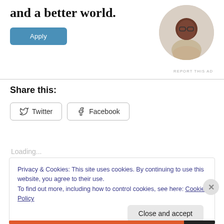and a better world.
[Figure (illustration): Apply button - blue rounded rectangle with white text 'Apply']
[Figure (photo): Circular photo of a man with glasses and beard, sitting at a desk, looking upward thoughtfully]
REPORT THIS AD
Share this:
[Figure (illustration): Twitter share button with Twitter bird icon]
[Figure (illustration): Facebook share button with Facebook logo icon]
Loading...
Privacy & Cookies: This site uses cookies. By continuing to use this website, you agree to their use.
To find out more, including how to control cookies, see here: Cookie Policy
Close and accept